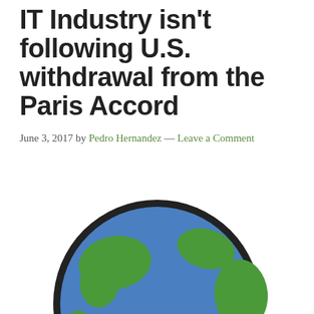IT Industry isn't following U.S. withdrawal from the Paris Accord
June 3, 2017 by Pedro Hernandez — Leave a Comment
[Figure (illustration): A cartoon sad Earth globe emoji with blue oceans and green continents, thick black outline, showing a frowning face with two dark oval eyes and a downturned mouth arc.]